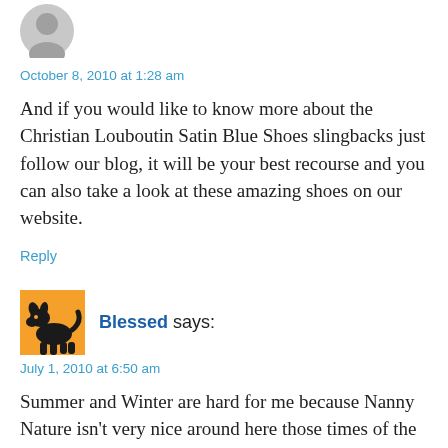[Figure (photo): Gray circular avatar placeholder image]
October 8, 2010 at 1:28 am
And if you would like to know more about the Christian Louboutin Satin Blue Shoes slingbacks just follow our blog, it will be your best recourse and you can also take a look at these amazing shoes on our website.
Reply
[Figure (illustration): Orange square avatar with black dog/horse silhouette illustration]
Blessed says:
July 1, 2010 at 6:50 am
Summer and Winter are hard for me because Nanny Nature isn't very nice around here those times of the year. There are plenty of autumn or foggy and cloudy days...